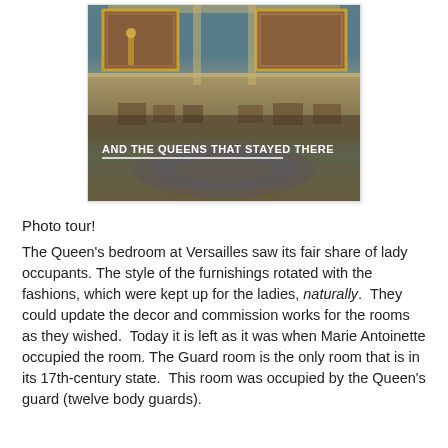[Figure (photo): Photo of the Queen's bedroom at Versailles showing ornate room with paintings on teal-patterned walls, gold frames, decorated floor with circular rug, and overlaid text 'AND THE QUEENS THAT STAYED THERE' with a white underline.]
Photo tour!
The Queen's bedroom at Versailles saw its fair share of lady occupants. The style of the furnishings rotated with the fashions, which were kept up for the ladies, naturally.  They could update the decor and commission works for the rooms as they wished.  Today it is left as it was when Marie Antoinette occupied the room. The Guard room is the only room that is in its 17th-century state.  This room was occupied by the Queen's guard (twelve body guards).